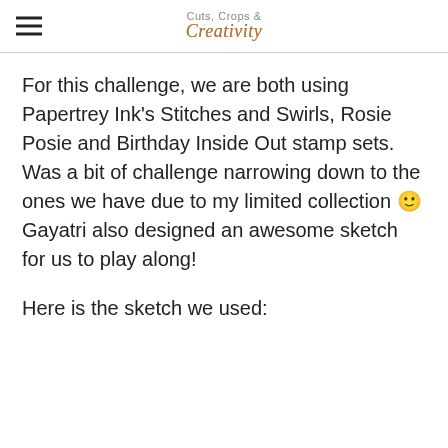Cuts, Crops & Creativity
For this challenge, we are both using Papertrey Ink's Stitches and Swirls, Rosie Posie and Birthday Inside Out stamp sets. Was a bit of challenge narrowing down to the ones we have due to my limited collection 🙂 Gayatri also designed an awesome sketch for us to play along!
Here is the sketch we used: